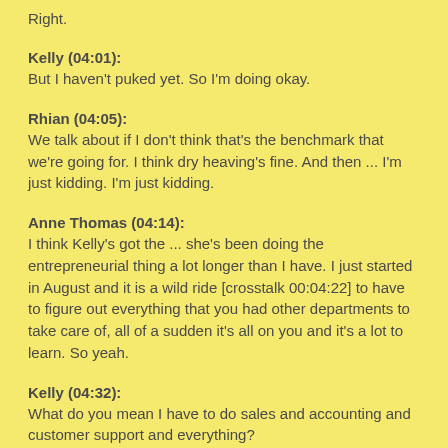Right.
Kelly (04:01):
But I haven't puked yet. So I'm doing okay.
Rhian (04:05):
We talk about if I don't think that's the benchmark that we're going for. I think dry heaving's fine. And then ... I'm just kidding. I'm just kidding.
Anne Thomas (04:14):
I think Kelly's got the ... she's been doing the entrepreneurial thing a lot longer than I have. I just started in August and it is a wild ride [crosstalk 00:04:22] to have to figure out everything that you had other departments to take care of, all of a sudden it's all on you and it's a lot to learn. So yeah.
Kelly (04:32):
What do you mean I have to do sales and accounting and customer support and everything?